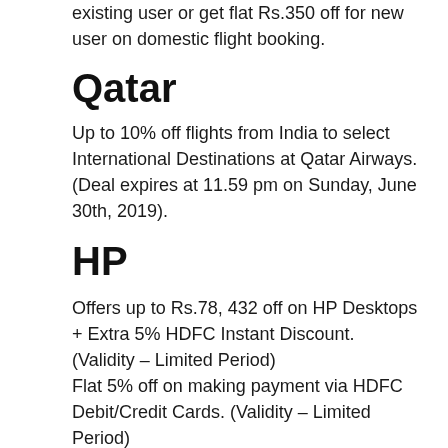existing user or get flat Rs.350 off for new user on domestic flight booking.
Qatar
Up to 10% off flights from India to select International Destinations at Qatar Airways. (Deal expires at 11.59 pm on Sunday, June 30th, 2019).
HP
Offers up to Rs.78, 432 off on HP Desktops + Extra 5% HDFC Instant Discount. (Validity – Limited Period)
Flat 5% off on making payment via HDFC Debit/Credit Cards. (Validity – Limited Period)